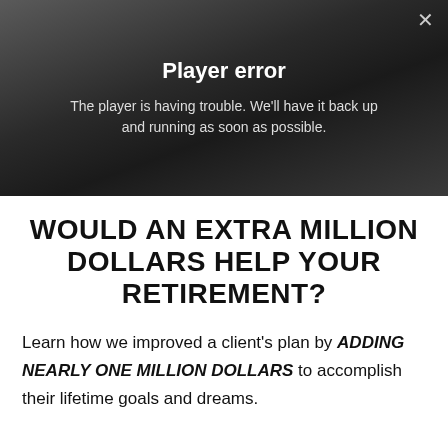[Figure (screenshot): Video player error overlay on a blurred dark background with a close (×) button in the top right corner.]
Player error
The player is having trouble. We'll have it back up and running as soon as possible.
WOULD AN EXTRA MILLION DOLLARS HELP YOUR RETIREMENT?
Learn how we improved a client's plan by ADDING NEARLY ONE MILLION DOLLARS to accomplish their lifetime goals and dreams.